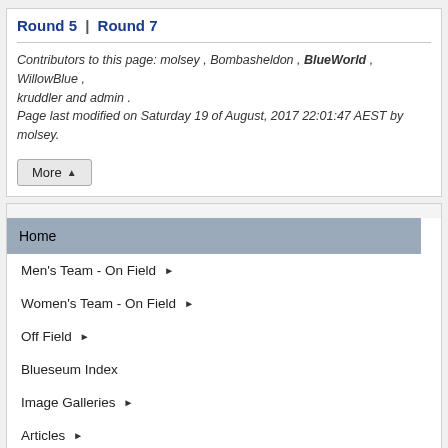Round 5 | Round 7
Contributors to this page: molsey , Bombasheldon , BlueWorld , WillowBlue , kruddler and admin . Page last modified on Saturday 19 of August, 2017 22:01:47 AEST by molsey.
Home
Men's Team - On Field ▶
Women's Team - On Field ▶
Off Field ▶
Blueseum Index
Image Galleries ▶
Articles ▶